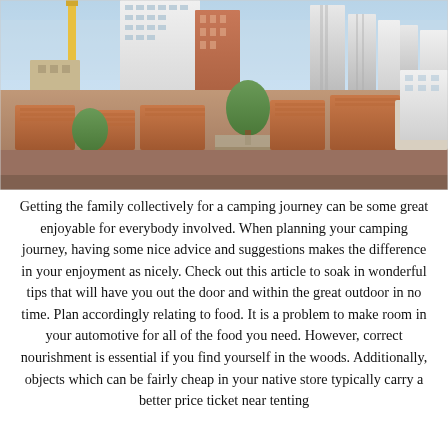[Figure (photo): Aerial view of a city with tall modern skyscrapers and low-rise red-roofed buildings in the foreground, with a clear sky and more buildings in the background.]
Getting the family collectively for a camping journey can be some great enjoyable for everybody involved. When planning your camping journey, having some nice advice and suggestions makes the difference in your enjoyment as nicely. Check out this article to soak in wonderful tips that will have you out the door and within the great outdoor in no time. Plan accordingly relating to food. It is a problem to make room in your automotive for all of the food you need. However, correct nourishment is essential if you find yourself in the woods. Additionally, objects which can be fairly cheap in your native store typically carry a better price ticket near tenting